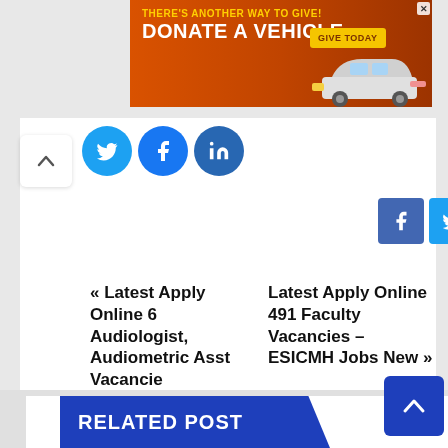[Figure (other): Orange advertisement banner: 'THERE'S ANOTHER WAY TO GIVE! DONATE A VEHICLE' with 'GIVE TODAY' button and car image]
[Figure (other): Social media share buttons: circular Twitter, Facebook, LinkedIn icons]
[Figure (other): Share bar with Facebook, Twitter, Email, LinkedIn, Telegram, Pinterest square icons]
« Latest Apply Online 6 Audiologist, Audiometric Asst Vacancie
Latest Apply Online 491 Faculty Vacancies – ESICMH Jobs New »
RELATED POST